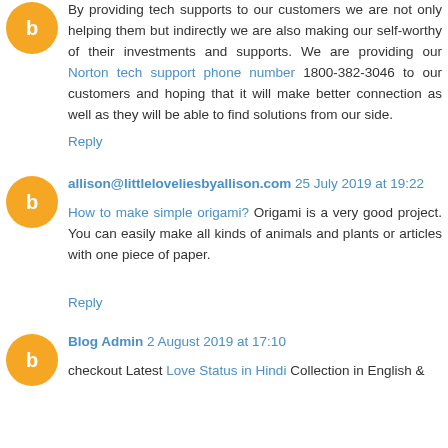By providing tech supports to our customers we are not only helping them but indirectly we are also making our self-worthy of their investments and supports. We are providing our Norton tech support phone number 1800-382-3046 to our customers and hoping that it will make better connection as well as they will be able to find solutions from our side.
Reply
allison@littleloveliesbyallison.com 25 July 2019 at 19:22
How to make simple origami? Origami is a very good project. You can easily make all kinds of animals and plants or articles with one piece of paper.
Reply
Blog Admin 2 August 2019 at 17:10
checkout Latest Love Status in Hindi Collection in English &